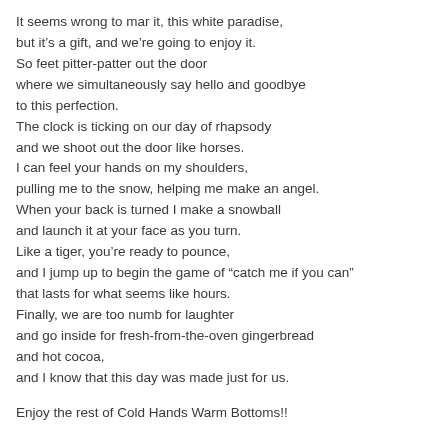It seems wrong to mar it, this white paradise,
but it's a gift, and we're going to enjoy it.
So feet pitter-patter out the door
where we simultaneously say hello and goodbye
to this perfection.
The clock is ticking on our day of rhapsody
and we shoot out the door like horses.
I can feel your hands on my shoulders,
pulling me to the snow, helping me make an angel.
When your back is turned I make a snowball
and launch it at your face as you turn.
Like a tiger, you're ready to pounce,
and I jump up to begin the game of "catch me if you can"
that lasts for what seems like hours.
Finally, we are too numb for laughter
and go inside for fresh-from-the-oven gingerbread
and hot cocoa,
and I know that this day was made just for us.
Enjoy the rest of Cold Hands Warm Bottoms!!